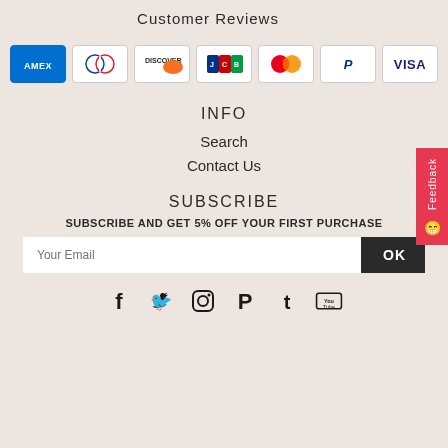Customer Reviews
[Figure (other): Row of payment method icons: Amex, Diners Club, Discover, JCB, Mastercard, PayPal, Visa]
INFO
Search
Contact Us
SUBSCRIBE
SUBSCRIBE AND GET 5% OFF YOUR FIRST PURCHASE
Your Email [input field] OK
[Figure (other): Social media icons: Facebook, Twitter, Instagram, Pinterest, Tumblr, YouTube]